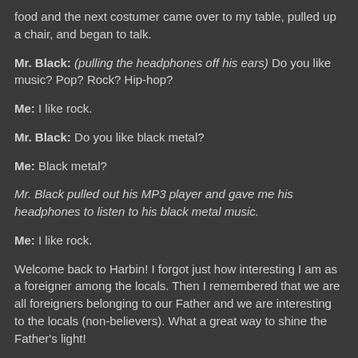food and the next costumer came over to my table, pulled up a chair, and began to talk.
Mr. Black: (pulling the headphones off his ears) Do you like music? Pop? Rock? Hip-hop?
Me: I like rock.
Mr. Black: Do you like black metal?
Me: Black metal?
Mr. Black pulled out his MP3 player and gave me his headphones to listen to his black metal music.
Me: I like rock.
Welcome back to Harbin! I forgot just how interesting I am as a foreigner among the locals. Then I remembered that we are all foreigners belonging to our Father and we are interesting to the locals (non-believers). What a great way to shine the Father’s light!